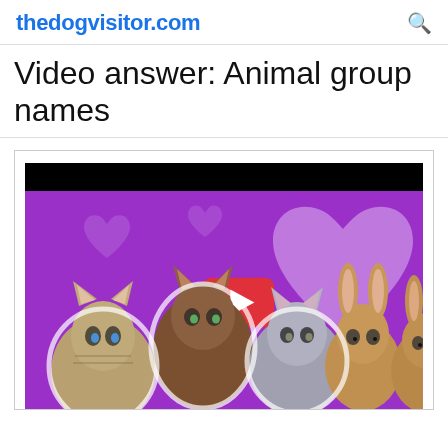thedogvisitor.com
Video answer: Animal group names
[Figure (screenshot): YouTube video thumbnail showing kittens and rabbits on a purple background with hearts and a YouTube play button logo]